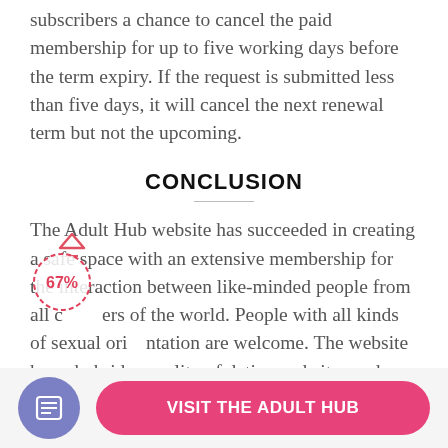subscribers a chance to cancel the paid membership for up to five working days before the term expiry. If the request is submitted less than five days, it will cancel the next renewal term but not the upcoming.
CONCLUSION
The Adult Hub website has succeeded in creating a safe space with an extensive membership for the interaction between like-minded people from all corners of the world. People with all kinds of sexual orientation are welcome. The website has a hybrid functionality of dating websites and social media. The registration on the site is free, requires filling out the
[Figure (infographic): A red dashed circle with 67% rating label and a small upward arrow icon overlay on the text]
VISIT THE ADULT HUB